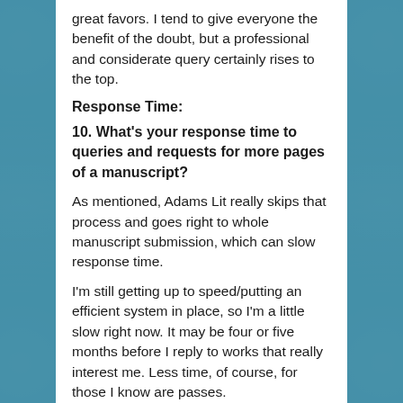great favors. I tend to give everyone the benefit of the doubt, but a professional and considerate query certainly rises to the top.
Response Time:
10. What's your response time to queries and requests for more pages of a manuscript?
As mentioned, Adams Lit really skips that process and goes right to whole manuscript submission, which can slow response time.
I'm still getting up to speed/putting an efficient system in place, so I'm a little slow right now. It may be four or five months before I reply to works that really interest me. Less time, of course, for those I know are passes.
That said, I will reply to all submissions, so silence from me means I'm dancing as fast as I can and shouldn't be construed as a rejection.